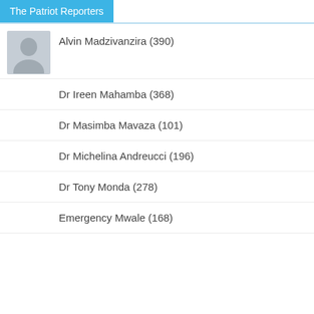The Patriot Reporters
Alvin Madzivanzira (390)
Dr Ireen Mahamba (368)
Dr Masimba Mavaza (101)
Dr Michelina Andreucci (196)
Dr Tony Monda (278)
Emergency Mwale (168)